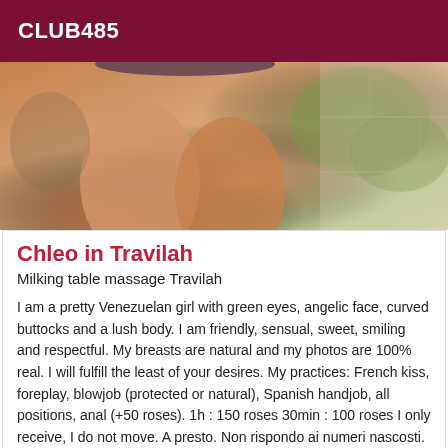CLUB485
[Figure (photo): Close-up photo of a person's legs outdoors with greenery and stone wall in background]
Chleo in Travilah
Milking table massage Travilah
I am a pretty Venezuelan girl with green eyes, angelic face, curved buttocks and a lush body. I am friendly, sensual, sweet, smiling and respectful. My breasts are natural and my photos are 100% real. I will fulfill the least of your desires. My practices: French kiss, foreplay, blowjob (protected or natural), Spanish handjob, all positions, anal (+50 roses). 1h : 150 roses 30min : 100 roses I only receive, I do not move. A presto. Non rispondo ai numeri nascosti. Ti bacio ♥♥